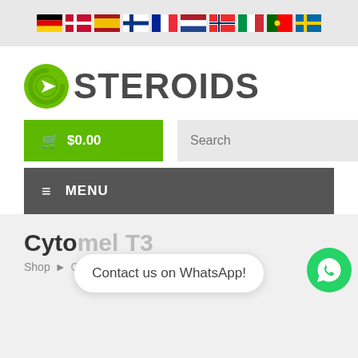[Figure (infographic): Row of country flags: Germany, Denmark, Spain, Finland, France, Netherlands, Norway, Italy, Portugal, Sweden]
[Figure (logo): QSteroids logo with green Q icon and dark gray STEROIDS text]
[Figure (screenshot): Shopping cart button showing $0.00 in green, search bar, and hamburger menu bar with MENU text]
Cytomel T3
Shop > Cytomel T3
Contact us on WhatsApp!